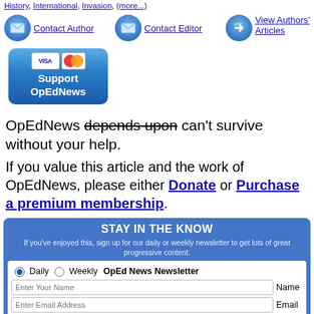History, International, Invasion, (more...)
[Figure (other): Contact Author button with email icon]
[Figure (other): Contact Editor button with email icon]
[Figure (other): View Authors' Articles button with arrow icon]
[Figure (other): Support OpEdNews button with Visa/Mastercard logos]
OpEdNews depends upon can't survive without your help.
If you value this article and the work of OpEdNews, please either Donate or Purchase a premium membership.
STAY IN THE KNOW
If you've enjoyed this, sign up for our daily or weekly newsletter to get lots of great progressive content.
Daily  Weekly  OpEd News Newsletter
Enter Your Name  Name
Enter Email Address  Email
SUBSCRIBE  (Opens new browser window)